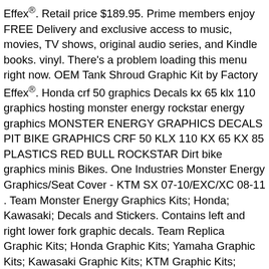Effex®. Retail price $189.95. Prime members enjoy FREE Delivery and exclusive access to music, movies, TV shows, original audio series, and Kindle books. vinyl. There's a problem loading this menu right now. OEM Tank Shroud Graphic Kit by Factory Effex®. Honda crf 50 graphics Decals kx 65 klx 110 graphics hosting monster energy rockstar energy graphics MONSTER ENERGY GRAPHICS DECALS PIT BIKE GRAPHICS CRF 50 KLX 110 KX 65 KX 85 PLASTICS RED BULL ROCKSTAR Dirt bike graphics minis Bikes. One Industries Monster Energy Graphics/Seat Cover - KTM SX 07-10/EXC/XC 08-11 . Team Monster Energy Graphics Kits; Honda; Kawasaki; Decals and Stickers. Contains left and right lower fork graphic decals. Team Replica Graphic Kits; Honda Graphic Kits; Yamaha Graphic Kits; Kawasaki Graphic Kits; KTM Graphic Kits; Suzuki Graphic Kits; Husqvarna Graphic Kits; Monster Energy Graphic Kits; Industry Driven Graphic Kits; Kawasaki Z125 PRO; UTV Graphics... 3 Pieces. Vinyl. Ooop! TC-Motor Fairing Body Kits+Tall Foam Seat For Honda CRF50 XR50 Pit Dirt Trail Bike 50cc 70cc 90cc 110cc